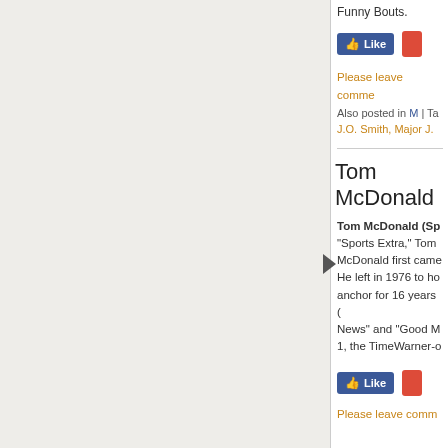Funny Bouts.
[Figure (screenshot): Facebook Like button (blue) and a red button]
Please leave comme...
Also posted in M | Ta... J.O. Smith, Major J...
Tom McDonald...
Tom McDonald (Sp... "Sports Extra," Tom McDonald first came... He left in 1976 to ho... anchor for 16 years (... News" and "Good M... 1, the TimeWarner-o...
[Figure (screenshot): Facebook Like button (blue) and a red button]
Please leave comm...